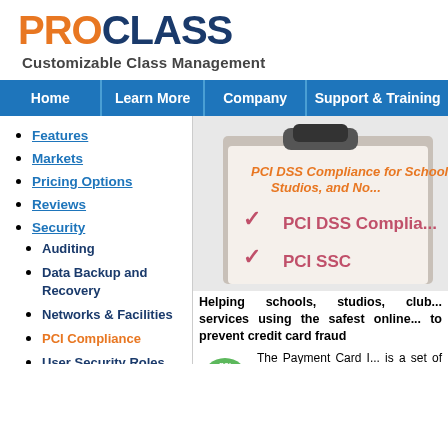PROCLASS
Customizable Class Management
Home | Learn More | Company | Support & Training
Features
Markets
Pricing Options
Reviews
Security
Auditing
Data Backup and Recovery
Networks & Facilities
PCI Compliance
User Security Roles
[Figure (screenshot): Clipboard image with checkmarks listing PCI DSS Compliance and PCI SSC, with orange italic title text: PCI DSS Compliance for Schools, Studios, and No...]
Helping schools, studios, club... services using the safest online... to prevent credit card fraud
[Figure (logo): Green PCI checkmark logo]
The Payment Card I... is a set of requi... companies that r...